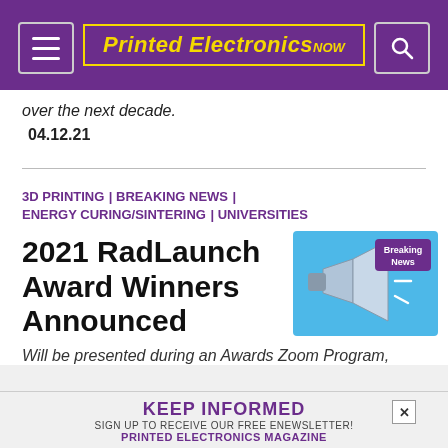Printed Electronics NOW
over the next decade.
04.12.21
3D PRINTING | BREAKING NEWS | ENERGY CURING/SINTERING | UNIVERSITIES
[Figure (illustration): Breaking News illustration with megaphone on blue background]
2021 RadLaunch Award Winners Announced
Will be presented during an Awards Zoom Program,
KEEP INFORMED
SIGN UP TO RECEIVE OUR FREE ENEWSLETTER!
PRINTED ELECTRONICS MAGAZINE